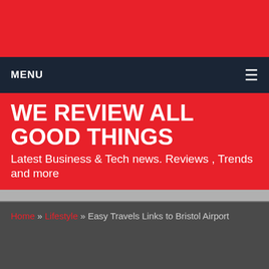MENU
WE REVIEW ALL GOOD THINGS
Latest Business & Tech news. Reviews , Trends and more
Home » Lifestyle » Easy Travels Links to Bristol Airport